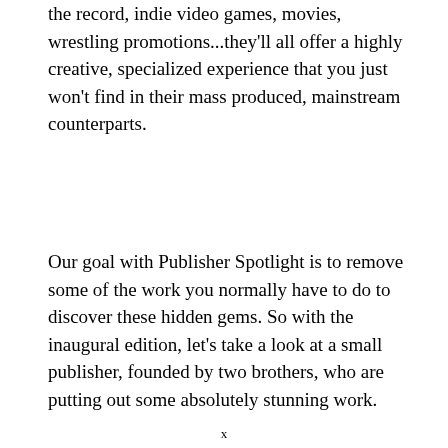the record, indie video games, movies, wrestling promotions...they'll all offer a highly creative, specialized experience that you just won't find in their mass produced, mainstream counterparts.
Our goal with Publisher Spotlight is to remove some of the work you normally have to do to discover these hidden gems. So with the inaugural edition, let's take a look at a small publisher, founded by two brothers, who are putting out some absolutely stunning work.
x